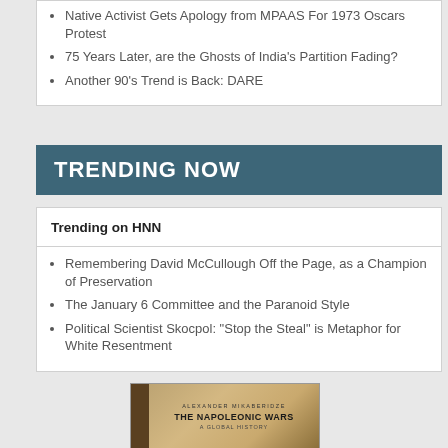Native Activist Gets Apology from MPAAS For 1973 Oscars Protest
75 Years Later, are the Ghosts of India's Partition Fading?
Another 90's Trend is Back: DARE
TRENDING NOW
Trending on HNN
Remembering David McCullough Off the Page, as a Champion of Preservation
The January 6 Committee and the Paranoid Style
Political Scientist Skocpol: "Stop the Steal" is Metaphor for White Resentment
[Figure (photo): Book cover of 'The Napoleonic Wars: A Global History' shown in partial view]